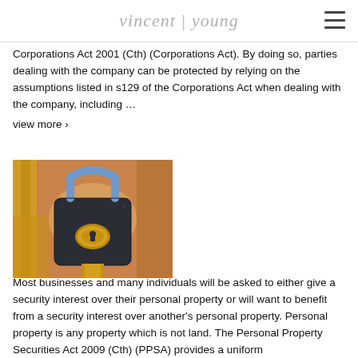vincent | young
Corporations Act 2001 (Cth) (Corporations Act). By doing so, parties dealing with the company can be protected by relying on the assumptions listed in s129 of the Corporations Act when dealing with the company, including …
view more ›
[Figure (photo): Close-up photograph of a dark metal padlock with a gold oval detail, hanging on a wooden structure with yellow rope or straps, with a blurred orange/brown background.]
Most businesses and many individuals will be asked to either give a security interest over their personal property or will want to benefit from a security interest over another's personal property. Personal property is any property which is not land. The Personal Property Securities Act 2009 (Cth) (PPSA) provides a uniform